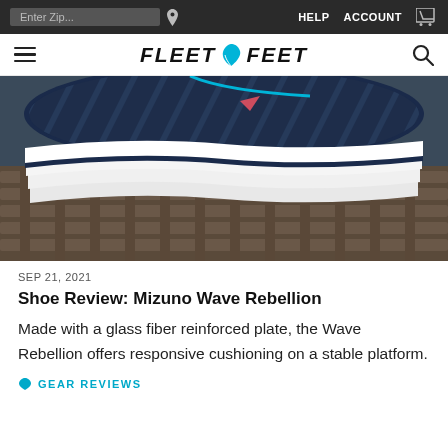Enter Zip...  HELP  ACCOUNT
[Figure (logo): Fleet Feet logo with stylized leaf icon between FLEET and FEET text]
[Figure (photo): Close-up photo of a Mizuno Wave Rebellion running shoe sole resting on a wooden lattice surface, showing the layered white wave midsole and blue/red patterned upper]
SEP 21, 2021
Shoe Review: Mizuno Wave Rebellion
Made with a glass fiber reinforced plate, the Wave Rebellion offers responsive cushioning on a stable platform.
GEAR REVIEWS